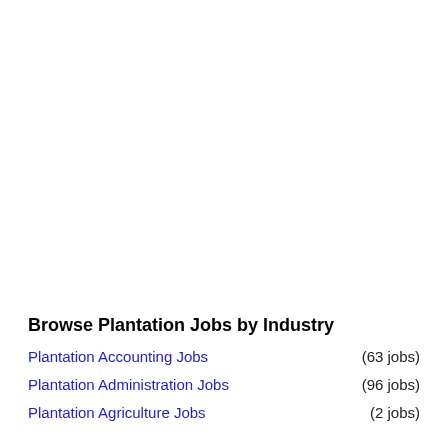Browse Plantation Jobs by Industry
Plantation Accounting Jobs (63 jobs)
Plantation Administration Jobs (96 jobs)
Plantation Agriculture Jobs (2 jobs)